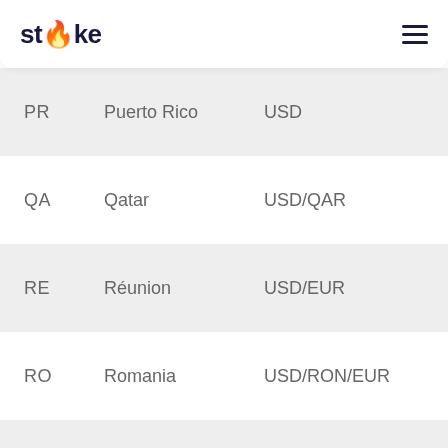Stoke
| Code | Country | Currency |
| --- | --- | --- |
| PR | Puerto Rico | USD |
| QA | Qatar | USD/QAR |
| RE | Réunion | USD/EUR |
| RO | Romania | USD/RON/EUR |
| RU | Russia | USD/RUB |